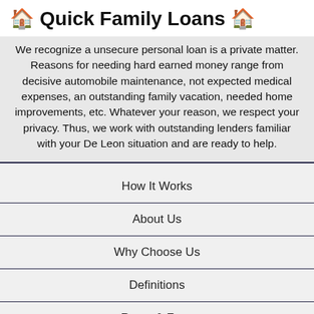🏠 Quick Family Loans 🏠
We recognize a unsecure personal loan is a private matter. Reasons for needing hard earned money range from decisive automobile maintenance, not expected medical expenses, an outstanding family vacation, needed home improvements, etc. Whatever your reason, we respect your privacy. Thus, we work with outstanding lenders familiar with your De Leon situation and are ready to help.
How It Works
About Us
Why Choose Us
Definitions
Rates & Fees
Lending Policy